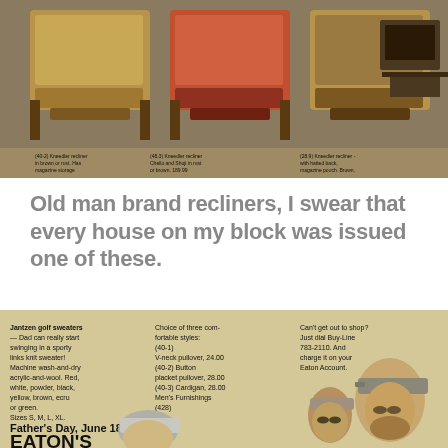[Figure (photo): Vintage catalog photo showing multiple recliner chairs with product captions below each item]
Old man brand recliners, I swear that every house on my block was issued one of these.
[Figure (photo): Vintage Eaton's Father's Day advertisement showing Jantzen golf sweaters with three men wearing caps. Ad text includes product descriptions and Buy-Line phone number 783-2110.]